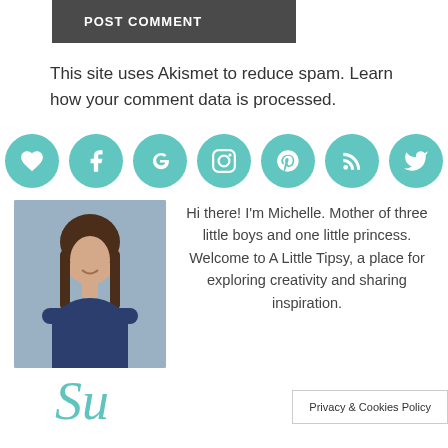POST COMMENT
This site uses Akismet to reduce spam. Learn how your comment data is processed.
[Figure (infographic): Seven teal circular social media icons: heart/Bloglovin, Facebook, Google+, Instagram, Pinterest, RSS, Twitter]
[Figure (photo): Photo of Michelle, a woman with long brown hair wearing a dark blue top, arms crossed, smiling]
Hi there! I'm Michelle. Mother of three little boys and one little princess. Welcome to A Little Tipsy, a place for exploring creativity and sharing inspiration.
Privacy & Cookies Policy